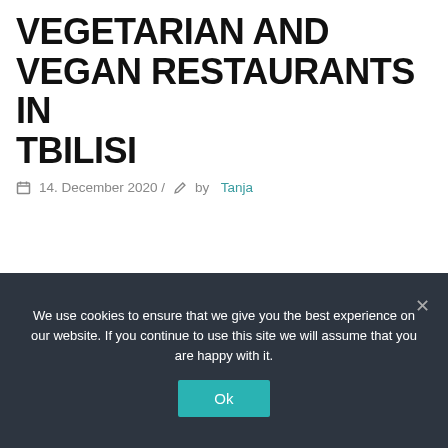VEGETARIAN AND VEGAN RESTAURANTS IN TBILISI
14. December 2020 / by Tanja
We use cookies to ensure that we give you the best experience on our website. If you continue to use this site we will assume that you are happy with it.